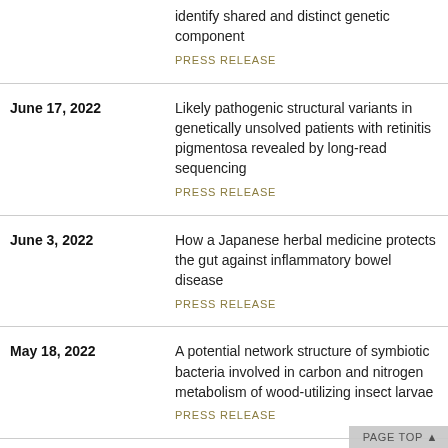identify shared and distinct genetic component
PRESS RELEASE
June 17, 2022 | Likely pathogenic structural variants in genetically unsolved patients with retinitis pigmentosa revealed by long-read sequencing
PRESS RELEASE
June 3, 2022 | How a Japanese herbal medicine protects the gut against inflammatory bowel disease
PRESS RELEASE
May 18, 2022 | A potential network structure of symbiotic bacteria involved in carbon and nitrogen metabolism of wood-utilizing insect larvae
PRESS RELEASE
May 17, 2022 | Integrative analysis of scRNA-seq and scATAC-seq revealed transit-amplifying thymic epithelial cells expressing autoimmune regulator